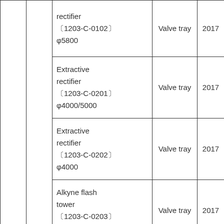|  |  | rectifier 〔1203-C-0102〕 φ5800 | Valve tray | 2017 |
|  |  | Extractive rectifier 〔1203-C-0201〕 φ4000/5000 | Valve tray | 2017 |
|  |  | Extractive rectifier 〔1203-C-0202〕 φ4000 | Valve tray | 2017 |
|  |  | Alkyne flash tower 〔1203-C-0203〕 φ2200 | Valve tray | 2017 |
|  |  | Heavy off tower |  |  |